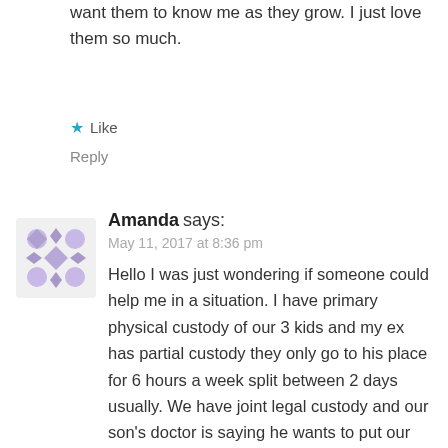want them to know me as they grow. I just love them so much.
★ Like
Reply
[Figure (illustration): Decorative avatar/profile image placeholder with a geometric purple/lavender floral pattern on light background]
Amanda says:
May 11, 2017 at 8:36 pm
Hello I was just wondering if someone could help me in a situation. I have primary physical custody of our 3 kids and my ex has partial custody they only go to his place for 6 hours a week split between 2 days usually. We have joint legal custody and our son's doctor is saying he wants to put our son on a medicine for anxiety and my ex is saying absolutely no way because he